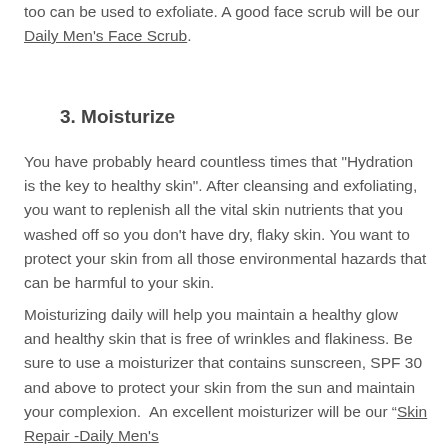too can be used to exfoliate. A good face scrub will be our Daily Men's Face Scrub.
3. Moisturize
You have probably heard countless times that "Hydration is the key to healthy skin". After cleansing and exfoliating, you want to replenish all the vital skin nutrients that you washed off so you don't have dry, flaky skin. You want to protect your skin from all those environmental hazards that can be harmful to your skin.
Moisturizing daily will help you maintain a healthy glow and healthy skin that is free of wrinkles and flakiness. Be sure to use a moisturizer that contains sunscreen, SPF 30 and above to protect your skin from the sun and maintain your complexion.  An excellent moisturizer will be our “Skin Repair -Daily Men's